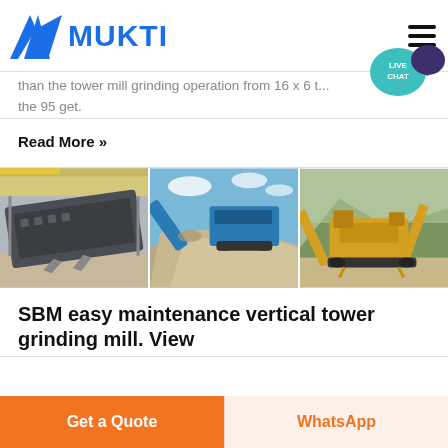MUKTI
than the tower mill grinding operation from 16 x 6 t... the 95 get.
Read More »
[Figure (photo): Three industrial equipment photos: vibrating screen machine in a factory, blue mobile crusher/conveyor piling gravel outdoors, yellow mobile crushing plant near rocky hillside]
SBM easy maintenance vertical tower grinding mill. View